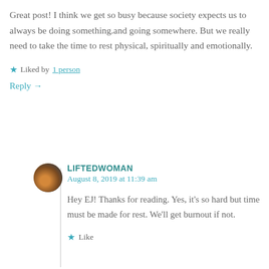Great post! I think we get so busy because society expects us to always be doing something.and going somewhere. But we really need to take the time to rest physical, spiritually and emotionally.
★ Liked by 1 person
Reply →
LIFTEDWOMAN
August 8, 2019 at 11:39 am
Hey EJ! Thanks for reading. Yes, it's so hard but time must be made for rest. We'll get burnout if not.
★ Like